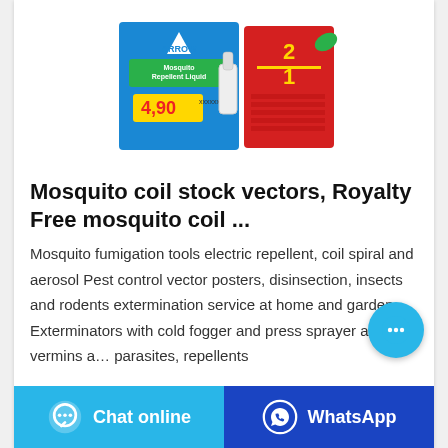[Figure (photo): Product photo of Arrow Mosquito Repellent Liquid box, showing a blue and red package with '490' printed and '2 in 1' label, with a mosquito repellent device visible.]
Mosquito coil stock vectors, Royalty Free mosquito coil ...
Mosquito fumigation tools electric repellent, coil spiral and aerosol Pest control vector posters, disinsection, insects and rodents extermination service at home and garden. Exterminators with cold fogger and press sprayer against vermins and parasites, repellents